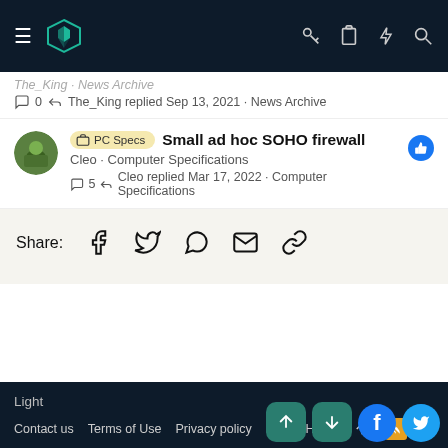Navigation bar with logo and icons
The_King · News Archive
0 · The_King replied Sep 13, 2021 · News Archive
PC Specs  Small ad hoc SOHO firewall
Cleo · Computer Specifications
5 · Cleo replied Mar 17, 2022 · Computer Specifications
Share:
Light
Contact us  Terms of Use  Privacy policy  Help  Home